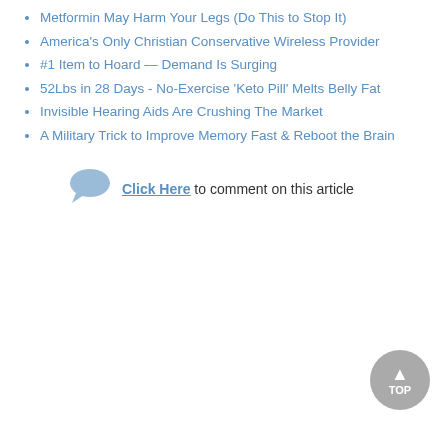Metformin May Harm Your Legs (Do This to Stop It)
America's Only Christian Conservative Wireless Provider
#1 Item to Hoard — Demand Is Surging
52Lbs in 28 Days - No-Exercise 'Keto Pill' Melts Belly Fat
Invisible Hearing Aids Are Crushing The Market
A Military Trick to Improve Memory Fast & Reboot the Brain
Click Here to comment on this article